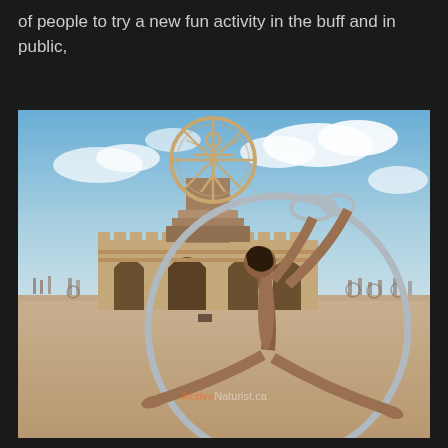of people to try a new fun activity in the buff and in public,
[Figure (photo): A performer doing a splits pose inside a large metal cyr wheel (aerial hoop/ring apparatus) on a desert playa. In the background is the iconic Burning Man 'The Man' sculpture atop a large circular wheel structure, plus the ornate temple/pavilion building. People and bicycles are visible in the far background. The sky is blue with clouds. Watermark reads 'ActiveNaturist.ca'.]